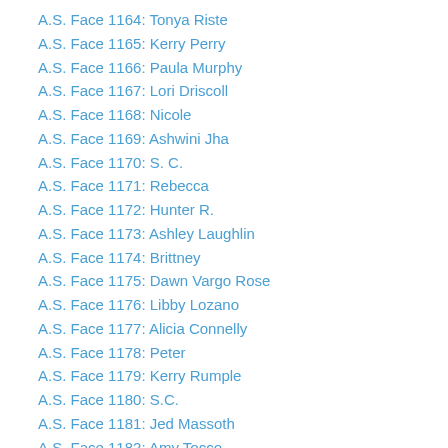A.S. Face 1164: Tonya Riste
A.S. Face 1165: Kerry Perry
A.S. Face 1166: Paula Murphy
A.S. Face 1167: Lori Driscoll
A.S. Face 1168: Nicole
A.S. Face 1169: Ashwini Jha
A.S. Face 1170: S. C.
A.S. Face 1171: Rebecca
A.S. Face 1172: Hunter R.
A.S. Face 1173: Ashley Laughlin
A.S. Face 1174: Brittney
A.S. Face 1175: Dawn Vargo Rose
A.S. Face 1176: Libby Lozano
A.S. Face 1177: Alicia Connelly
A.S. Face 1178: Peter
A.S. Face 1179: Kerry Rumple
A.S. Face 1180: S.C.
A.S. Face 1181: Jed Massoth
A.S. Face 1182: Amy Tocco
A.S. Face 1183: Kris Hopkins